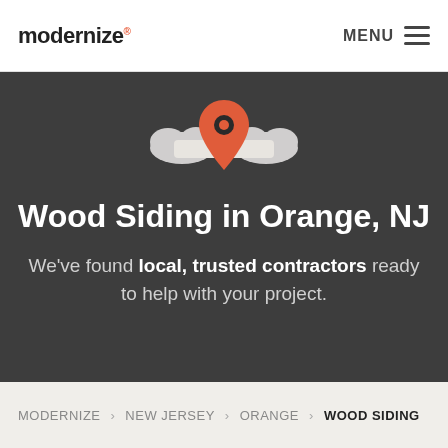modernize® MENU ≡
[Figure (illustration): Location pin icon with stylized cloud/arrow shapes in white and red-orange on dark background]
Wood Siding in Orange, NJ
We've found local, trusted contractors ready to help with your project.
MODERNIZE > NEW JERSEY > ORANGE > WOOD SIDING